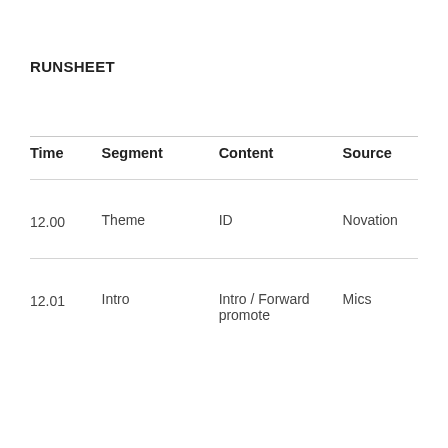RUNSHEET
| Time | Segment | Content | Source |
| --- | --- | --- | --- |
| 12.00 | Theme | ID | Novation |
| 12.01 | Intro | Intro / Forward promote | Mics |